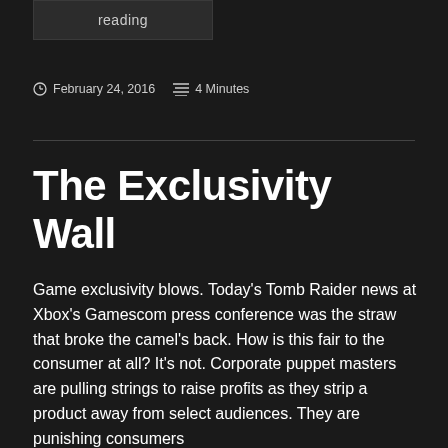reading
February 24, 2016   4 Minutes
The Exclusivity Wall
Game exclusivity blows. Today's Tomb Raider news at Xbox's Gamescom press conference was the straw that broke the camel's back. How is this fair to the consumer at all? It's not. Corporate puppet masters are pulling strings to raise profits as they strip a product away from select audiences. They are punishing consumers